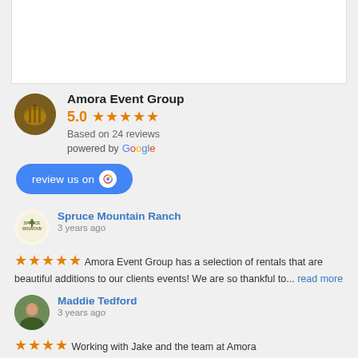[Figure (other): White rectangular box at top of page, partially visible]
Amora Event Group
5.0 ★★★★★
Based on 24 reviews
powered by Google
[Figure (other): Blue 'review us on Google' button]
Spruce Mountain Ranch
3 years ago
★★★★★ Amora Event Group has a selection of rentals that are beautiful additions to our clients events! We are so thankful to... read more
Maddie Tedford
3 years ago
★★★★ Working with Jake and the team at Amora